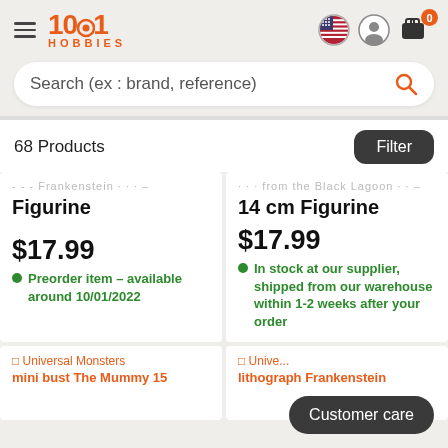1001 HOBBIES
Search (ex : brand, reference)
68 Products
Filter
Frankenstein... Figurine
$17.99
Preorder item - available around 10/01/2022
...from the Black Lagoon... 14 cm Figurine
$17.99
In stock at our supplier, shipped from our warehouse within 1-2 weeks after your order
Universal Monsters mini bust The Mummy 15
Unive... lithograph Frankenstein
Customer care